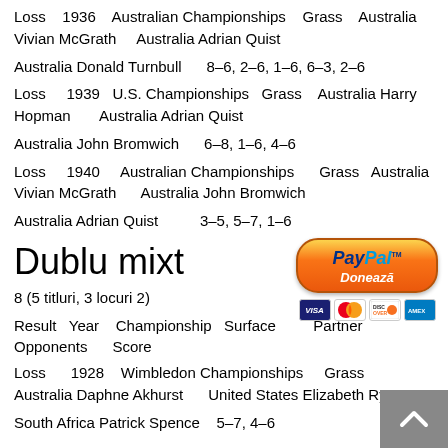Loss   1936   Australian Championships   Grass   Australia Vivian McGrath   Australia Adrian Quist
Australia Donald Turnbull   8–6, 2–6, 1–6, 6–3, 2–6
Loss   1939   U.S. Championships   Grass   Australia Harry Hopman   Australia Adrian Quist
Australia John Bromwich   6–8, 1–6, 4–6
Loss   1940   Australian Championships   Grass   Australia Vivian McGrath   Australia John Bromwich
Australia Adrian Quist   3–5, 5–7, 1–6
[Figure (other): PayPal donate button with Visa, Mastercard, Discover, and American Express card logos]
Dublu mixt
8 (5 titluri, 3 locuri 2)
Result   Year   Championship   Surface   Partner   Opponents   Score
Loss   1928   Wimbledon Championships   Grass   Australia Daphne Akhurst   United States Elizabeth Ryan
South Africa Patrick Spence   5–7, 4–6